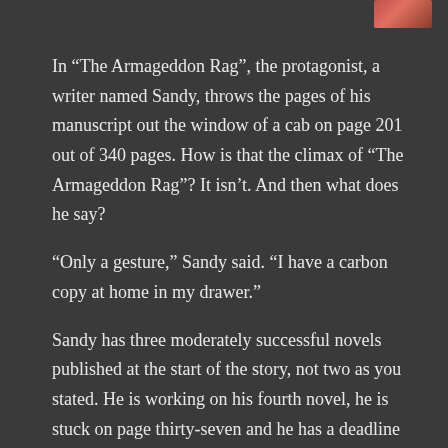[Figure (photo): Small thumbnail photo of a person in the top-right corner]
In “The Armageddon Rag”, the protagonist, a writer named Sandy, throws the pages of his manuscript out the window of a cab on page 201 out of 340 pages. How is that the climax of “The Armageddon Rag”? It isn’t. And then what does he say?
“Only a gesture,” Sandy said. “I have a carbon copy at home in my drawer.”
Sandy has three moderately successful novels published at the start of the story, not two as you stated. He is working on his fourth novel, he is stuck on page thirty-seven and he has a deadline looming.
He admits each of his subsequent novels has sold